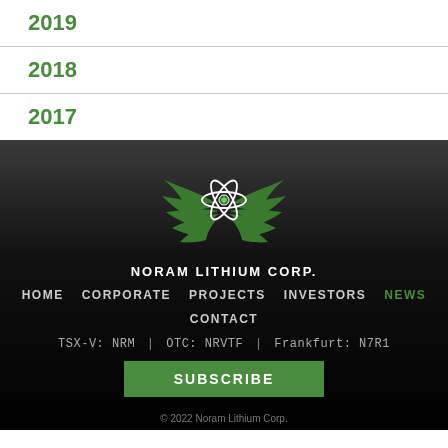2019
2018
2017
[Figure (logo): Noram Lithium Corp logo: green winged atom symbol with company name below]
NORAM LITHIUM CORP.
HOME   CORPORATE   PROJECTS   INVESTORS   NEWS   CONTACT
TSX-V: NRM | OTC: NRVTF | Frankfurt: N7R1
SUBSCRIBE
© 2022 Noram Lithium Corp.